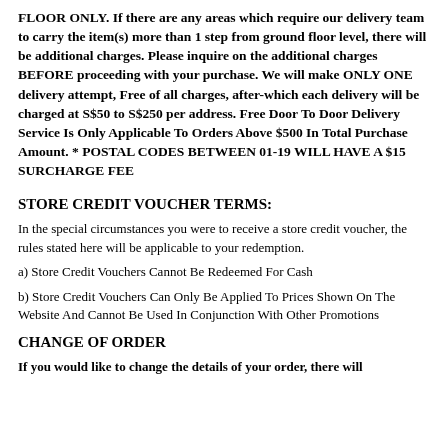FLOOR ONLY. If there are any areas which require our delivery team to carry the item(s) more than 1 step from ground floor level, there will be additional charges. Please inquire on the additional charges BEFORE proceeding with your purchase. We will make ONLY ONE delivery attempt, Free of all charges, after-which each delivery will be charged at S$50 to S$250 per address. Free Door To Door Delivery Service Is Only Applicable To Orders Above $500 In Total Purchase Amount. * POSTAL CODES BETWEEN 01-19 WILL HAVE A $15 SURCHARGE FEE
STORE CREDIT VOUCHER TERMS:
In the special circumstances you were to receive a store credit voucher, the rules stated here will be applicable to your redemption.
a) Store Credit Vouchers Cannot Be Redeemed For Cash
b) Store Credit Vouchers Can Only Be Applied To Prices Shown On The Website And Cannot Be Used In Conjunction With Other Promotions
CHANGE OF ORDER
If you would like to change the details of your order, there will